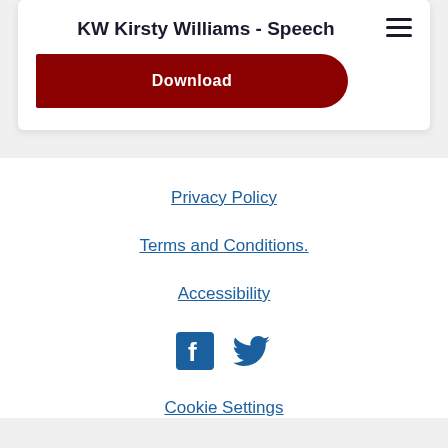KW Kirsty Williams - Speech
Download
Privacy Policy
Terms and Conditions.
Accessibility
[Figure (illustration): Facebook and Twitter social media icons in blue]
Cookie Settings